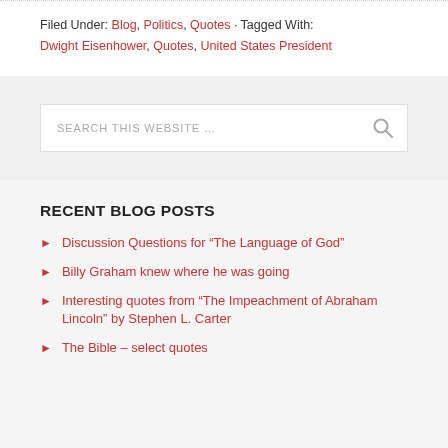Filed Under: Blog, Politics, Quotes · Tagged With: Dwight Eisenhower, Quotes, United States President
[Figure (other): Search box with placeholder text 'SEARCH THIS WEBSITE ...' and a search icon]
RECENT BLOG POSTS
Discussion Questions for “The Language of God”
Billy Graham knew where he was going
Interesting quotes from “The Impeachment of Abraham Lincoln” by Stephen L. Carter
The Bible – select quotes